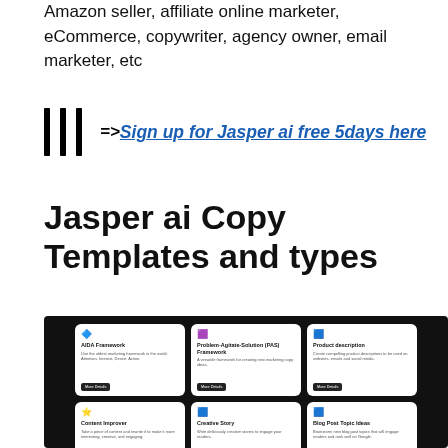Amazon seller, affiliate online marketer, eCommerce, copywriter, agency owner, email marketer, etc
=>Sign up for Jasper ai free 5days here
Jasper ai Copy Templates and types
[Figure (screenshot): Screenshot of Jasper AI copy templates grid showing cards: AIDA Framework, Problem-Agitate-Solution (PAS) Framework, Product description, Content Improver, Creative Story, Blog Post Topic Ideas, Blog Post Outline, Blog Post Intro Paragraph, Sentence Expander]